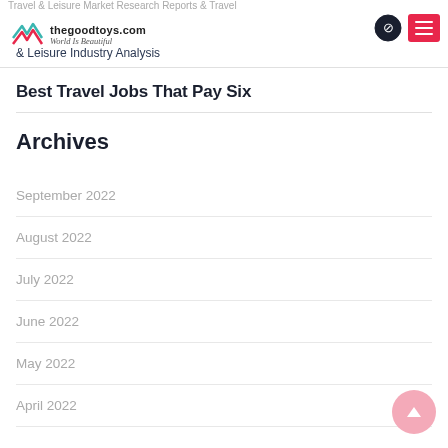Travel & Leisure Market Research Reports & Travel & Leisure Industry Analysis | thegoodtoys.com World Is Beautiful
Best Travel Jobs That Pay Six
Archives
September 2022
August 2022
July 2022
June 2022
May 2022
April 2022